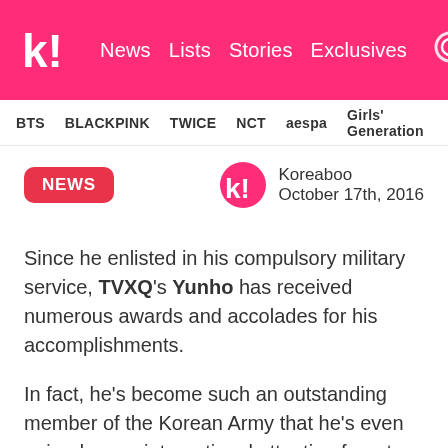k! News Lists Stories Exclusives
BTS BLACKPINK TWICE NCT aespa Girls' Generation
NEWS
Koreaboo October 17th, 2016
Since he enlisted in his compulsory military service, TVXQ's Yunho has received numerous awards and accolades for his accomplishments.
In fact, he's become such an outstanding member of the Korean Army that he's even gained some international attention from top news outlets all over the world.